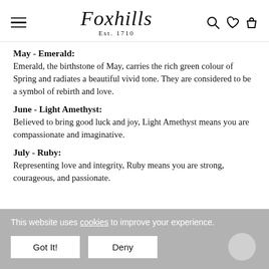Foxhills Est. 1710
May - Emerald:
Emerald, the birthstone of May, carries the rich green colour of Spring and radiates a beautiful vivid tone. They are considered to be a symbol of rebirth and love.
June - Light Amethyst:
Believed to bring good luck and joy, Light Amethyst means you are compassionate and imaginative.
July - Ruby:
Representing love and integrity, Ruby means you are strong, courageous, and passionate.
This website uses cookies to improve your experience.